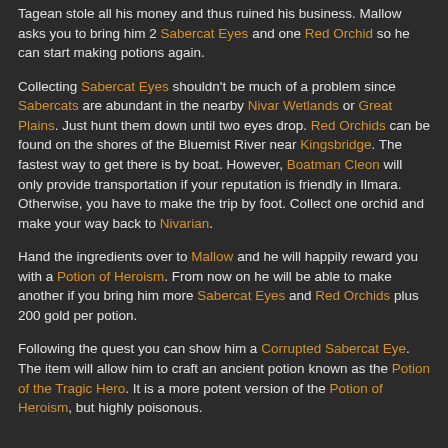Tagean stole all his money and thus ruined his business. Mallow asks you to bring him 2 Sabercat Eyes and one Red Orchid so he can start making potions again.
Collecting Sabercat Eyes shouldn't be much of a problem since Sabercats are abundant in the nearby Nivar Wetlands or Great Plains. Just hunt them down until two eyes drop. Red Orchids can be found on the shores of the Bluemist River near Kingsbridge. The fastest way to get there is by boat. However, Boatman Cleon will only provide transportation if your reputation is friendly in Ilmara. Otherwise, you have to make the trip by foot. Collect one orchid and make your way back to Nivarian.
Hand the ingredients over to Mallow and he will happily reward you with a Potion of Heroism. From now on he will be able to make another if you bring him more Sabercat Eyes and Red Orchids plus 200 gold per potion.
Following the quest you can show him a Corrupted Sabercat Eye. The item will allow him to craft an ancient potion known as the Potion of the Tragic Hero. It is a more potent version of the Potion of Heroism, but highly poisonous.